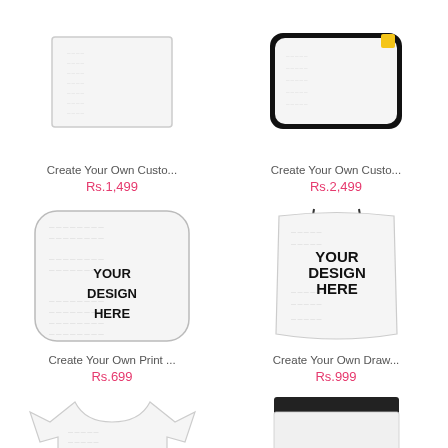[Figure (photo): Custom product thumbnail - tablet/notebook with custom print placeholder]
Create Your Own Custo...
Rs.1,499
[Figure (photo): Custom product thumbnail - device case with black border, custom print placeholder]
Create Your Own Custo...
Rs.2,499
[Figure (photo): Custom print product - square mousepad/coaster with rounded corners, YOUR DESIGN HERE placeholder]
Create Your Own Print ...
Rs.699
[Figure (photo): Custom drawstring bag with YOUR DESIGN HERE placeholder text]
Create Your Own Draw...
Rs.999
[Figure (photo): Custom t-shirt with YOUR DESIGN HERE placeholder text]
[Figure (photo): Custom sweatpants/joggers with YOUR DESIGN HERE placeholder text and black waistband]